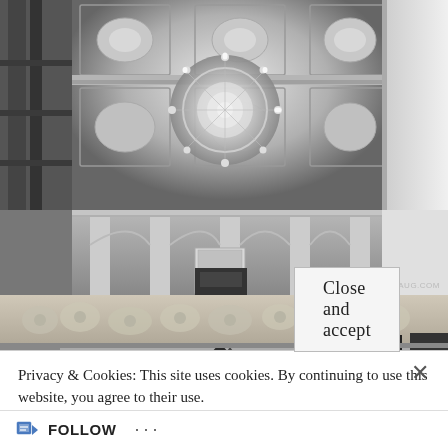[Figure (photo): Black and white photograph of an ornate interior ceiling with a large crystal chandelier, decorative plasterwork, painted panels with floral motifs, and arched architectural details. Staircase railing visible on the left. Copyright watermark: © 2017 - SOUSANESHAUG.COM]
[Figure (photo): Black and white photograph of an ornate room interior showing decorative wall tapestry with floral patterns, a dark triangular object in the center, and dark furniture/columns on the right side.]
Privacy & Cookies: This site uses cookies. By continuing to use this website, you agree to their use.
To find out more, including how to control cookies, see here:
Cookie Policy
Close and accept
FOLLOW ...